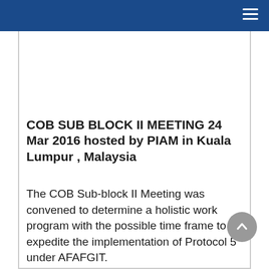COB SUB BLOCK II MEETING 24 Mar 2016 hosted by PIAM in Kuala Lumpur , Malaysia
The COB Sub-block II Meeting was convened to determine a holistic work program with the possible time frame to expedite the implementation of Protocol 5 under AFAFGIT.